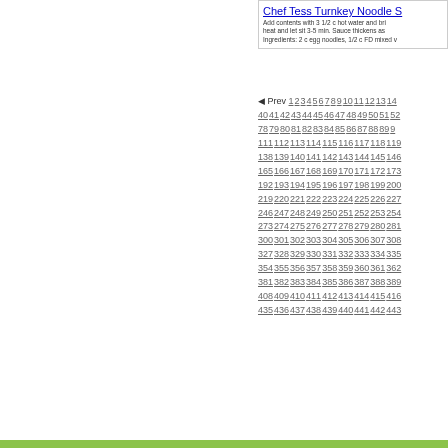Chef Tess Turnkey Noodle S — Add contents with 3 1/2 c hot water and bri heat and let sit 3-5 min. Sauce thickens as Ingredients: 2 c egg noodles, 1/2 c FD mixed v
Prev 1 2 3 4 5 6 7 8 9 10 11 12 13 14 40 41 42 43 44 45 46 47 48 49 50 51 52 78 79 80 81 82 83 84 85 86 87 88 89 9 111 112 113 114 115 116 117 118 119 138 139 140 141 142 143 144 145 146 165 166 167 168 169 170 171 172 173 192 193 194 195 196 197 198 199 200 219 220 221 222 223 224 225 226 227 246 247 248 249 250 251 252 253 254 273 274 275 276 277 278 279 280 281 300 301 302 303 304 305 306 307 308 327 328 329 330 331 332 333 334 335 354 355 356 357 358 359 360 361 362 381 382 383 384 385 386 387 388 389 408 409 410 411 412 413 414 415 416 435 436 437 438 439 440 441 442 443